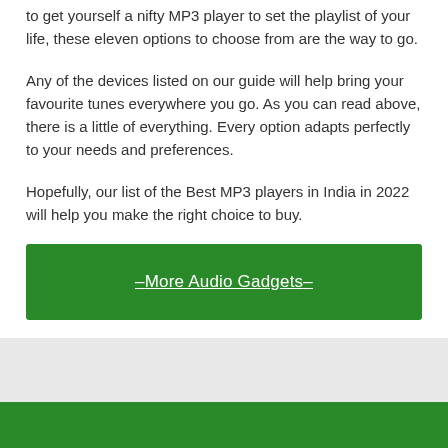to get yourself a nifty MP3 player to set the playlist of your life, these eleven options to choose from are the way to go.
Any of the devices listed on our guide will help bring your favourite tunes everywhere you go. As you can read above, there is a little of everything. Every option adapts perfectly to your needs and preferences.
Hopefully, our list of the Best MP3 players in India in 2022 will help you make the right choice to buy.
[Figure (other): Green button/banner with text '–More Audio Gadgets–' linking to more audio gadgets content]